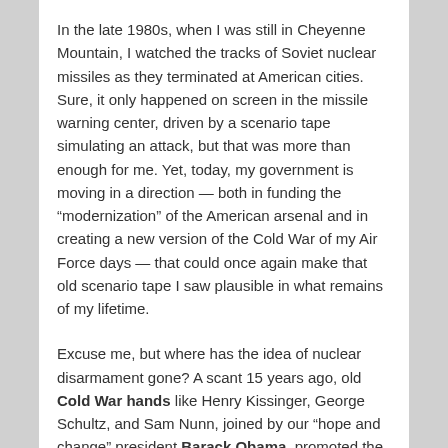In the late 1980s, when I was still in Cheyenne Mountain, I watched the tracks of Soviet nuclear missiles as they terminated at American cities. Sure, it only happened on screen in the missile warning center, driven by a scenario tape simulating an attack, but that was more than enough for me. Yet, today, my government is moving in a direction — both in funding the “modernization” of the American arsenal and in creating a new version of the Cold War of my Air Force days — that could once again make that old scenario tape I saw plausible in what remains of my lifetime.
Excuse me, but where has the idea of nuclear disarmament gone? A scant 15 years ago, old Cold War hands like Henry Kissinger, George Schultz, and Sam Nunn, joined by our “hope and change” president Barack Obama, promoted the end of nuclear terror through the actual elimination of nuclear weapons.